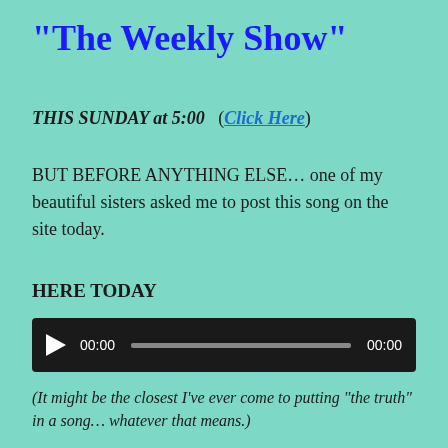“The Weekly Show”
THIS SUNDAY at 5:00   (Click Here)
BUT BEFORE ANYTHING ELSE… one of my beautiful sisters asked me to post this song on the site today.
HERE TODAY
[Figure (other): Audio player widget with play button, time counter showing 00:00, progress bar, and end time 00:00]
(It might be the closest I’ve ever come to putting “the truth” in a song… whatever that means.)